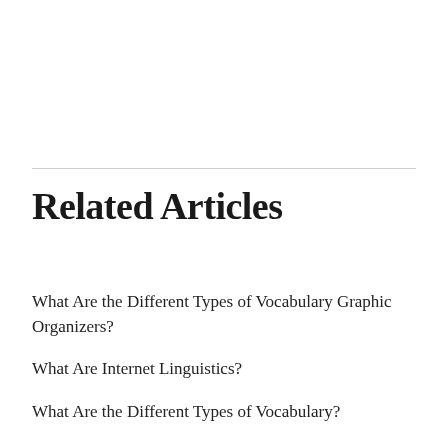Related Articles
What Are the Different Types of Vocabulary Graphic Organizers?
What Are Internet Linguistics?
What Are the Different Types of Vocabulary?
What Is a Nonsense Word?